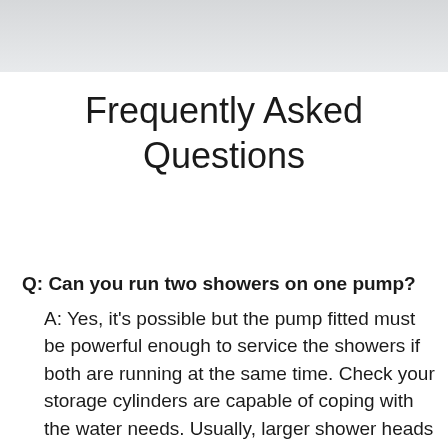[Figure (other): Gray gradient header banner at top of page]
Frequently Asked Questions
Q: Can you run two showers on one pump?
A: Yes, it's possible but the pump fitted must be powerful enough to service the showers if both are running at the same time. Check your storage cylinders are capable of coping with the water needs. Usually, larger shower heads also require